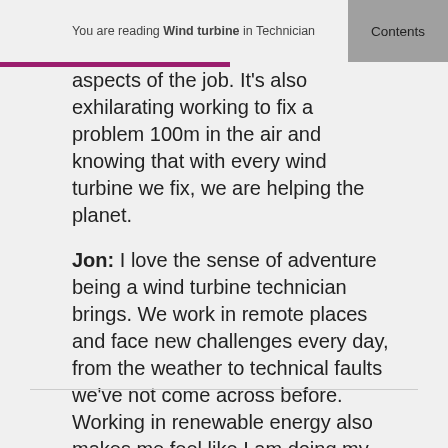You are reading Wind turbine in Technician
aspects of the job. It's also exhilarating working to fix a problem 100m in the air and knowing that with every wind turbine we fix, we are helping the planet.
Jon: I love the sense of adventure being a wind turbine technician brings. We work in remote places and face new challenges every day, from the weather to technical faults we've not come across before. Working in renewable energy also makes me feel like I am doing my bit to help make the planet greener for future generations.